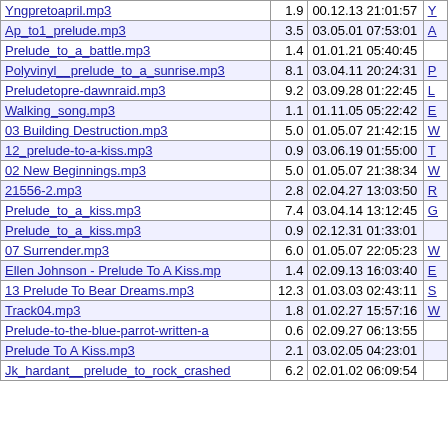| Filename | Size | Date | Link |
| --- | --- | --- | --- |
| Yngpretoapril.mp3 | 1.9 | 00.12.13 21:01:57 | Y... |
| Ap_to1_prelude.mp3 | 3.5 | 03.05.01 07:53:01 | A... |
| Prelude_to_a_battle.mp3 | 1.4 | 01.01.21 05:40:45 |  |
| Polyvinyl__prelude_to_a_sunrise.mp3 | 8.1 | 03.04.11 20:24:31 | P... |
| Preludetopre-dawnraid.mp3 | 9.2 | 03.09.28 01:22:45 | L... |
| Walking_song.mp3 | 1.1 | 01.11.05 05:22:42 | E... |
| 03 Building Destruction.mp3 | 5.0 | 01.05.07 21:42:15 | W... |
| 12_prelude-to-a-kiss.mp3 | 0.9 | 03.06.19 01:55:00 | T... |
| 02 New Beginnings.mp3 | 5.0 | 01.05.07 21:38:34 | W... |
| 21556-2.mp3 | 2.8 | 02.04.27 13:03:50 | R... |
| Prelude_to_a_kiss.mp3 | 7.4 | 03.04.14 13:12:45 | G... |
| Prelude_to_a_kiss.mp3 | 0.9 | 02.12.31 01:33:01 |  |
| 07 Surrender.mp3 | 6.0 | 01.05.07 22:05:23 | W... |
| Ellen Johnson - Prelude To A Kiss.mp | 1.4 | 02.09.13 16:03:40 | E... |
| 13 Prelude To Bear Dreams.mp3 | 12.3 | 01.03.03 02:43:11 | S... |
| Track04.mp3 | 1.8 | 01.02.27 15:57:16 | W... |
| Prelude-to-the-blue-parrot-written-a | 0.6 | 02.09.27 06:13:55 |  |
| Prelude To A Kiss.mp3 | 2.1 | 03.02.05 04:23:01 |  |
| Jk_hardant__prelude_to_rock_crashed | 6.2 | 02.01.02 06:09:54 |  |